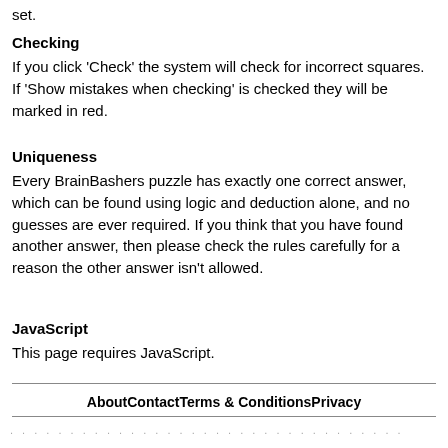set.
Checking
If you click 'Check' the system will check for incorrect squares. If 'Show mistakes when checking' is checked they will be marked in red.
Uniqueness
Every BrainBashers puzzle has exactly one correct answer, which can be found using logic and deduction alone, and no guesses are ever required. If you think that you have found another answer, then please check the rules carefully for a reason the other answer isn't allowed.
JavaScript
This page requires JavaScript.
About   Contact   Terms & Conditions   Privacy